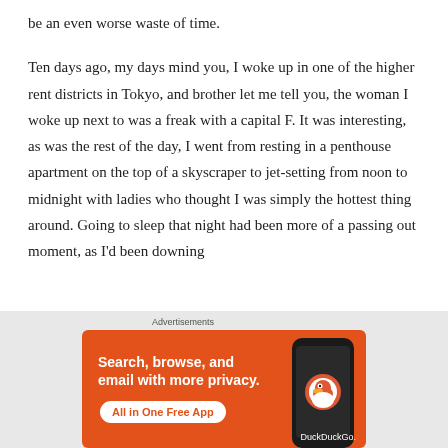be an even worse waste of time.
Ten days ago, my days mind you, I woke up in one of the higher rent districts in Tokyo, and brother let me tell you, the woman I woke up next to was a freak with a capital F. It was interesting, as was the rest of the day, I went from resting in a penthouse apartment on the top of a skyscraper to jet-setting from noon to midnight with ladies who thought I was simply the hottest thing around. Going to sleep that night had been more of a passing out moment, as I'd been downing
[Figure (infographic): DuckDuckGo advertisement banner with orange background. Text reads: 'Search, browse, and email with more privacy. All in One Free App' with a DuckDuckGo logo and phone mockup on the right.]